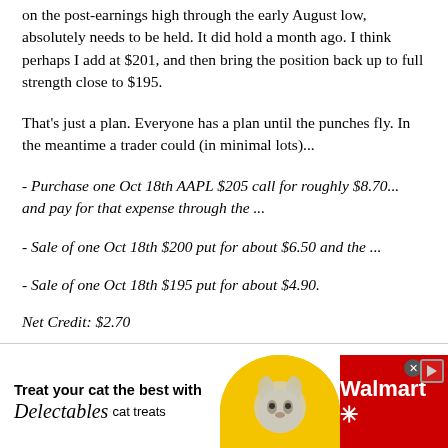on the post-earnings high through the early August low, absolutely needs to be held. It did hold a month ago. I think perhaps I add at $201, and then bring the position back up to full strength close to $195.
That's just a plan. Everyone has a plan until the punches fly. In the meantime a trader could (in minimal lots)...
- Purchase one Oct 18th AAPL $205 call for roughly $8.70... and pay for that expense through the ...
- Sale of one Oct 18th $200 put for about $6.50 and the ...
- Sale of one Oct 18th $195 put for about $4.90.
Net Credit: $2.70
[Figure (infographic): Walmart advertisement banner for Delectables cat treats, featuring a cat photo on a yellow circular background, with red Walmart branding on the right side.]